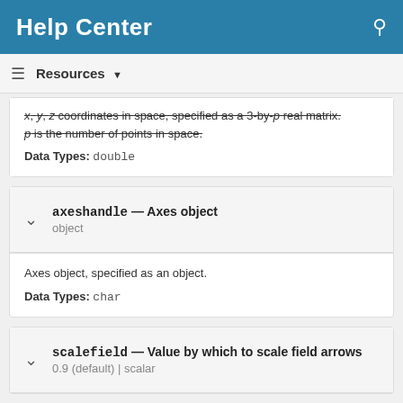Help Center
Resources ▾
x, y, z coordinates in space, specified as a 3-by-p real matrix. p is the number of points in space.
Data Types: double
axeshandle — Axes object
object
Axes object, specified as an object.
Data Types: char
scalefield — Value by which to scale field arrows
0.9 (default) | scalar